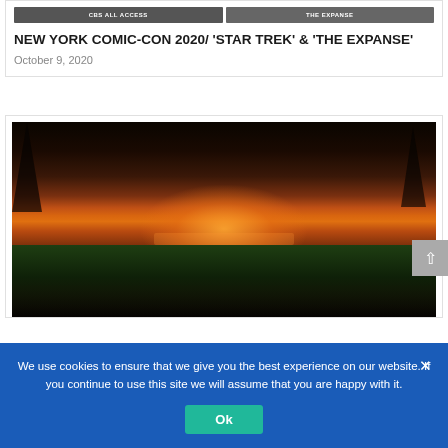[Figure (screenshot): Top banner images showing CBS All Access and The Expanse logos]
NEW YORK COMIC-CON 2020/ 'STAR TREK' & 'THE EXPANSE'
October 9, 2020
[Figure (photo): Stranger Things promotional image showing children holding hands in a field with dramatic sunset and glowing sky backdrop]
We use cookies to ensure that we give you the best experience on our website. If you continue to use this site we will assume that you are happy with it.
Ok